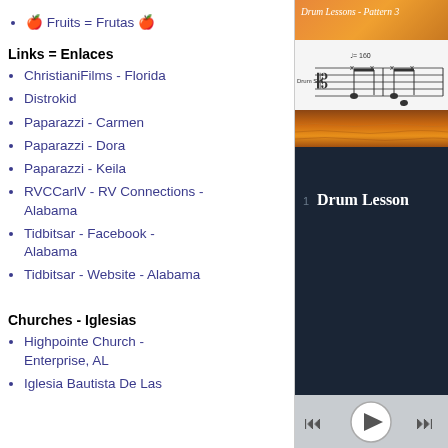🍎 Fruits = Frutas 🍎
Links = Enlaces
ChristianiFilms - Florida
Distrokid
Paparazzi - Carmen
Paparazzi - Dora
Paparazzi - Keila
RVCCarlV - RV Connections - Alabama
Tidbitsar - Facebook - Alabama
Tidbitsar - Website - Alabama
Churches - Iglesias
Highpointe Church - Enterprise, AL
Iglesia Bautista De Las
[Figure (screenshot): Media player screenshot showing 'Drum Lessons - Pattern 3' with sheet music notation thumbnail, sunset background image, dark player UI with track titled 'Drum Lesson' and playback controls including skip back, play, and skip forward buttons.]